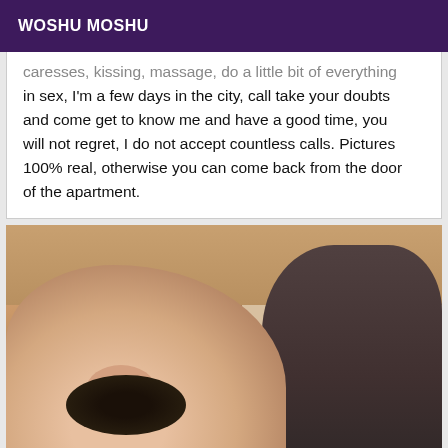WOSHU MOSHU
caresses, kissing, massage, do a little bit of everything in sex, I'm a few days in the city, call take your doubts and come get to know me and have a good time, you will not regret, I do not accept countless calls. Pictures 100% real, otherwise you can come back from the door of the apartment.
[Figure (photo): A photo showing two people, partially visible, in what appears to be an indoor setting with warm lighting.]